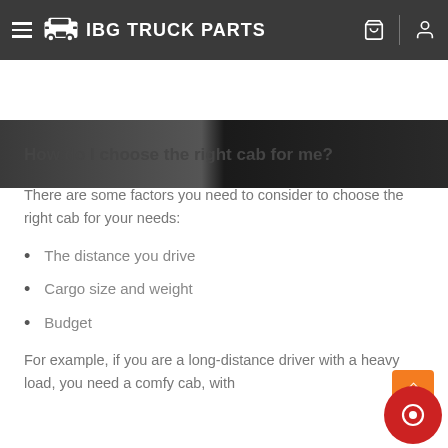IBG TRUCK PARTS
[Figure (photo): Partial view of truck cab interior, dark tones]
How do I choose the right cab for me?
There are some factors you need to consider to choose the right cab for your needs:
The distance you drive
Cargo size and weight
Budget
For example, if you are a long-distance driver with a heavy load, you need a comfy cab, with